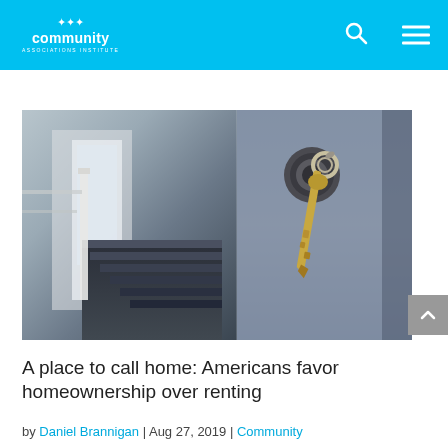community associations institute
[Figure (photo): Split image showing a home interior staircase on the left and a close-up of keys in a door lock on the right]
A place to call home: Americans favor homeownership over renting
by Daniel Brannigan | Aug 27, 2019 | Community